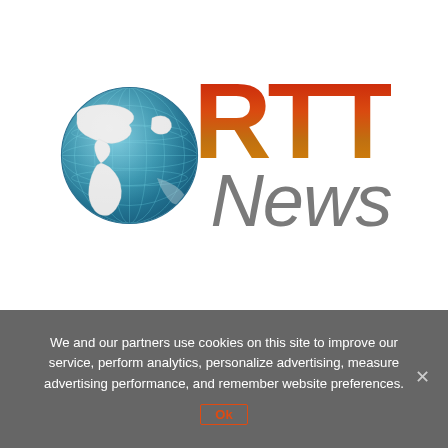[Figure (logo): RTT News logo: a globe with blue ocean and white continents on the left, and stylized bold italic 'RTT' text in orange-red gradient above gray italic 'News' text on the right]
We and our partners use cookies on this site to improve our service, perform analytics, personalize advertising, measure advertising performance, and remember website preferences.
Ok